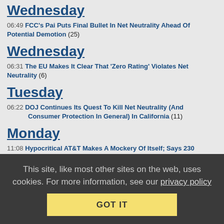Wednesday
06:49 FCC's Pai Puts Final Bullet In Net Neutrality Ahead Of Potential Demotion (25)
Wednesday
06:31 The EU Makes It Clear That 'Zero Rating' Violates Net Neutrality (6)
Tuesday
06:22 DOJ Continues Its Quest To Kill Net Neutrality (And Consumer Protection In General) In California (11)
Monday
11:08 Hypocritical AT&T Makes A Mockery Of Itself; Says 230 Should Be Reformed For Real Net Neutrality (28)
Friday
06:20 Trump, Big Telecom Continue Quest To Ban States From Protecting Broadband
This site, like most other sites on the web, uses cookies. For more information, see our privacy policy
GOT IT